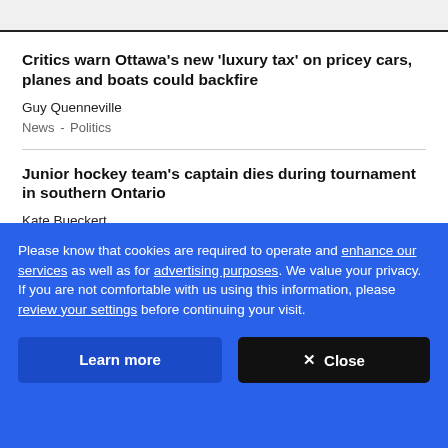Critics warn Ottawa's new 'luxury tax' on pricey cars, planes and boats could backfire
Guy Quenneville
News  -  Politics
Junior hockey team's captain dies during tournament in southern Ontario
Kate Bueckert
News  -  Canada  -  Kitchener-Waterloo
Please know that cookies are required to operate and enhance our services as well as for advertising purposes. We value your privacy. If you are not comfortable with us using this information, please review your settings before continuing your visit.